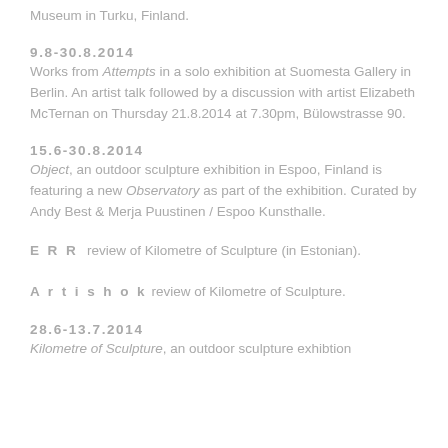Museum in Turku, Finland.
9.8-30.8.2014
Works from Attempts in a solo exhibition at Suomesta Gallery in Berlin. An artist talk followed by a discussion with artist Elizabeth McTernan on Thursday 21.8.2014 at 7.30pm, Bülowstrasse 90.
15.6-30.8.2014
Object, an outdoor sculpture exhibition in Espoo, Finland is featuring a new Observatory as part of the exhibition. Curated by Andy Best & Merja Puustinen / Espoo Kunsthalle.
ERR review of Kilometre of Sculpture (in Estonian).
Artishok review of Kilometre of Sculpture.
28.6-13.7.2014
Kilometre of Sculpture, an outdoor sculpture exhibtion